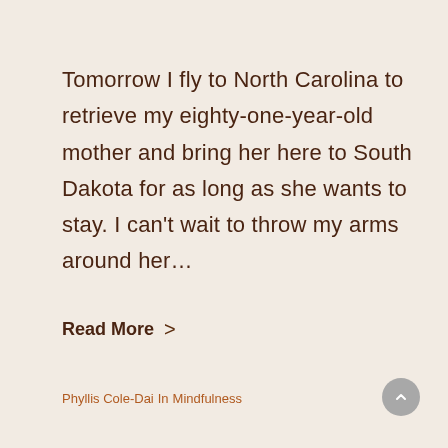Tomorrow I fly to North Carolina to retrieve my eighty-one-year-old mother and bring her here to South Dakota for as long as she wants to stay. I can't wait to throw my arms around her…
Read More >
Phyllis Cole-Dai In Mindfulness